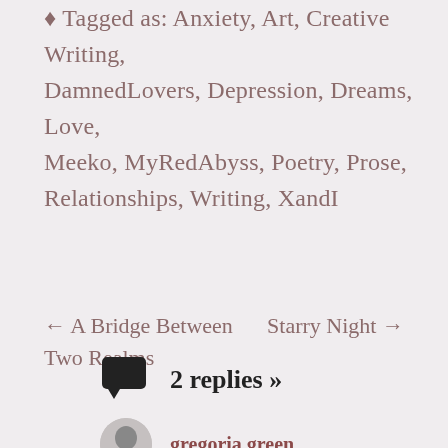Tagged as: Anxiety, Art, Creative Writing, DamnedLovers, Depression, Dreams, Love, Meeko, MyRedAbyss, Poetry, Prose, Relationships, Writing, XandI
← A Bridge Between Two Realms    Starry Night →
2 replies »
gregoria green